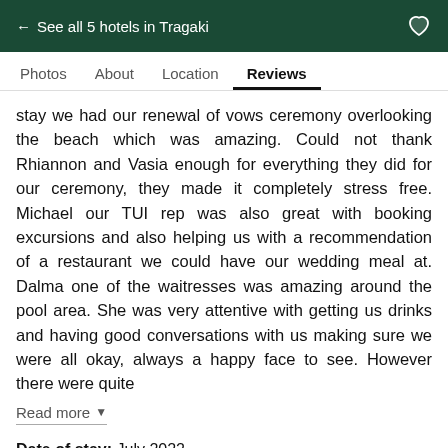← See all 5 hotels in Tragaki
Photos   About   Location   Reviews
stay we had our renewal of vows ceremony overlooking the beach which was amazing. Could not thank Rhiannon and Vasia enough for everything they did for our ceremony, they made it completely stress free. Michael our TUI rep was also great with booking excursions and also helping us with a recommendation of a restaurant we could have our wedding meal at. Dalma one of the waitresses was amazing around the pool area. She was very attentive with getting us drinks and having good conversations with us making sure we were all okay, always a happy face to see. However there were quite
Read more ▼
Date of stay: July 2022
This review is the subjective opinion of a Tripadvisor member and not of Tripadvisor LLC. Tripadvisor performs checks on reviews.